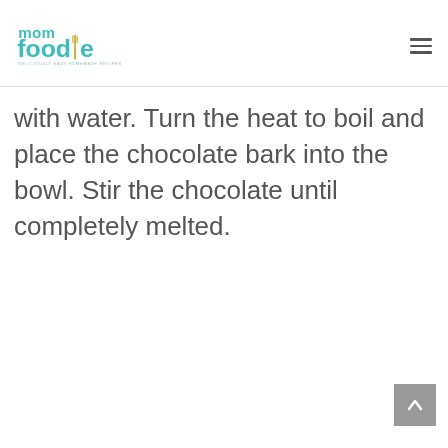mom foodie – deliciously easy homemade recipes
with water. Turn the heat to boil and place the chocolate bark into the bowl. Stir the chocolate until completely melted.